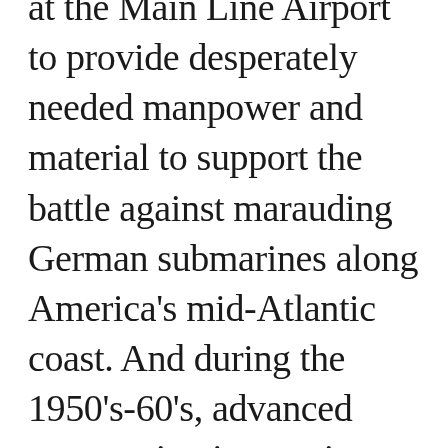at the Main Line Airport to provide desperately needed manpower and material to support the battle against marauding German submarines along America's mid-Atlantic coast. And during the 1950's-60's, advanced rotary-wing innovations created at the airport contributed to the helicopter as we know it today. The importance of the Main